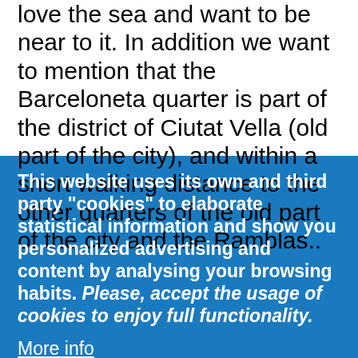love the sea and want to be near to it. In addition we want to mention that the Barceloneta quarter is part of the district of Ciutat Vella (old part of the city), and within a short walking distance to the other quarters of the old part of the city and the Ramblas..
This website uses its own and third party "cookies" to elaborate statistical information and show you personalized advertising and content by analysing your browsing habits. Please, accept the usage of cookies to enjoy full functionality.
More info
OK, I agree
Decline